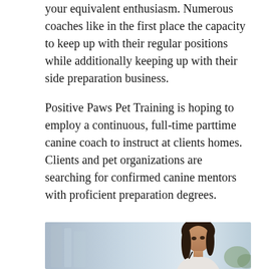your equivalent enthusiasm. Numerous coaches like in the first place the capacity to keep up with their regular positions while additionally keeping up with their side preparation business.
Positive Paws Pet Training is hoping to employ a continuous, full-time parttime canine coach to instruct at clients homes. Clients and pet organizations are searching for confirmed canine mentors with proficient preparation degrees.
[Figure (photo): A woman with dark hair in a professional setting, holding a pen to her chin in a thoughtful pose, with a blurred office background]